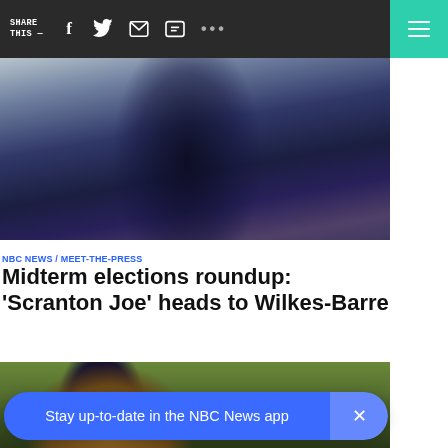SHARE THIS —
[Figure (photo): Dark blurry photo of a person wearing a dark navy jacket, upper body visible against a light gray sky background]
NBC NEWS / MEET-THE-PRESS
Midterm elections roundup: 'Scranton Joe' heads to Wilkes-Barre
[Figure (photo): Outdoor photo showing a person against a green grassy background, partially blurred]
Stay up-to-date in the NBC News app